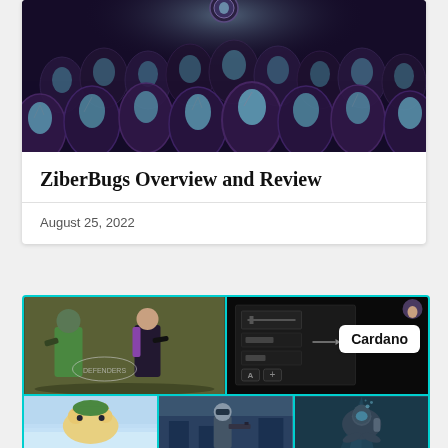[Figure (illustration): Dark fantasy illustration showing rows of glowing blue-teal egg/bug creatures in a dark purple-black environment with a faint circular glow at top]
ZiberBugs Overview and Review
August 25, 2022
[Figure (screenshot): Grid of game screenshots: top-left shows two animated characters with guns on green/dark background with logo; top-right shows game inventory/weapon UI screen with 'Cardano' badge overlay; bottom row shows three smaller game screenshots including a creature, a character with gun, and an underwater diver scene]